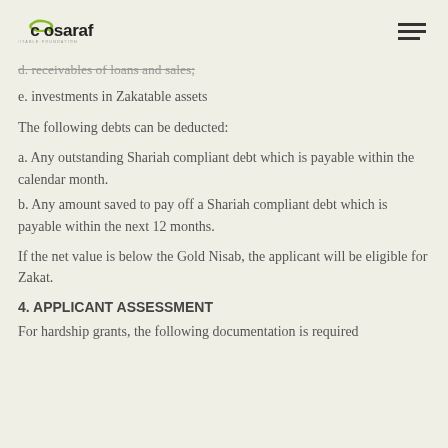cosaraf charitable foundation
d. receivables of loans and sales;
e. investments in Zakatable assets
The following debts can be deducted:
a. Any outstanding Shariah compliant debt which is payable within the calendar month.
b. Any amount saved to pay off a Shariah compliant debt which is payable within the next 12 months.
If the net value is below the Gold Nisab, the applicant will be eligible for Zakat.
4. APPLICANT ASSESSMENT
For hardship grants, the following documentation is required